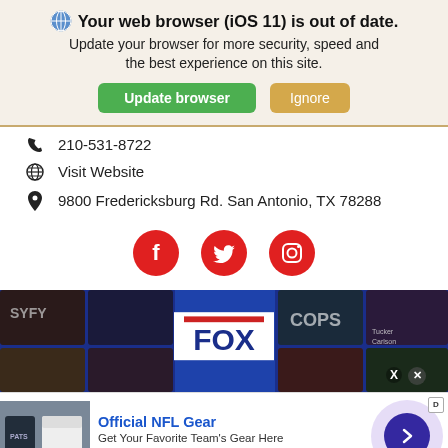Your web browser (iOS 11) is out of date. Update your browser for more security, speed and the best experience on this site.
Update browser | Ignore
210-531-8722
Visit Website
9800 Fredericksburg Rd. San Antonio, TX 78288
[Figure (illustration): Social media icons: Facebook, Twitter, Instagram (red circles)]
[Figure (photo): FOX network promo banner with dark blue background showing various TV show thumbnails and the FOX logo]
[Figure (infographic): Official NFL Gear advertisement showing NFL jerseys with text: Official NFL Gear, Get Your Favorite Team's Gear Here, www.nflshop.com]